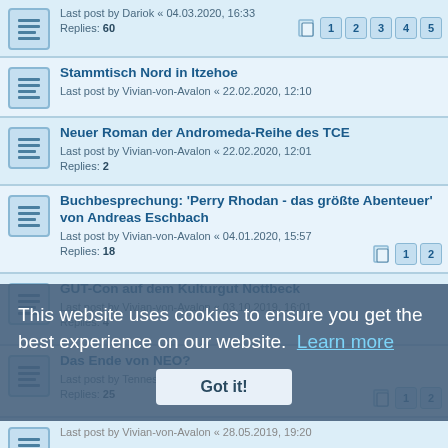Last post by Dariok « 04.03.2020, 16:33 | Replies: 60 | Pages: 1 2 3 4 5
Stammtisch Nord in Itzehoe | Last post by Vivian-von-Avalon « 22.02.2020, 12:10
Neuer Roman der Andromeda-Reihe des TCE | Last post by Vivian-von-Avalon « 22.02.2020, 12:01 | Replies: 2
Buchbesprechung: 'Perry Rhodan - das größte Abenteuer' von Andreas Eschbach | Last post by Vivian-von-Avalon « 04.01.2020, 15:57 | Replies: 18 | Pages: 1 2
GUT-Con auf dem Kulturgut Nottbeck | Last post by Vivian-von-Avalon « 03.10.2019, 16:01 | Replies: 4
Das Ende von NEO? | Last post by Tennessee « 11.07.2019, 08:03 | Replies: 25 | Pages: 1 2
Last post by Vivian-von-Avalon « 28.05.2019, 19:20
Die Frage nach der Stimmigkeit in der Serie | Last post by Vivian-von-Avalon « 08.04.2019, 23:47 | Replies: 20 | Pages: 1 2
Der Realitätsbezug in Perry-Rhodan-Romanen | Last post by Kapaun « 01.04.2019, 11:55
This website uses cookies to ensure you get the best experience on our website. Learn more
Got it!